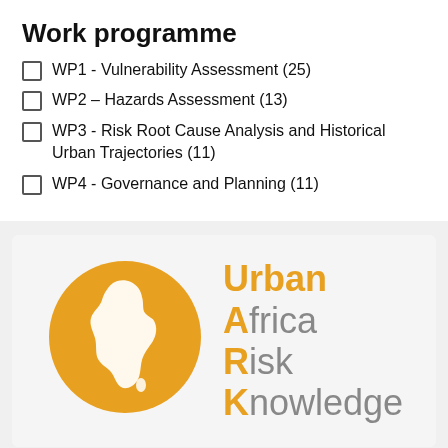Work programme
WP1 - Vulnerability Assessment (25)
WP2 – Hazards Assessment (13)
WP3 - Risk Root Cause Analysis and Historical Urban Trajectories (11)
WP4 - Governance and Planning (11)
[Figure (logo): Urban Africa Risk Knowledge (UARK) logo: orange speech bubble with white Africa continent silhouette, and the text 'Urban Africa Risk Knowledge' where U, A, R, K are highlighted in orange.]